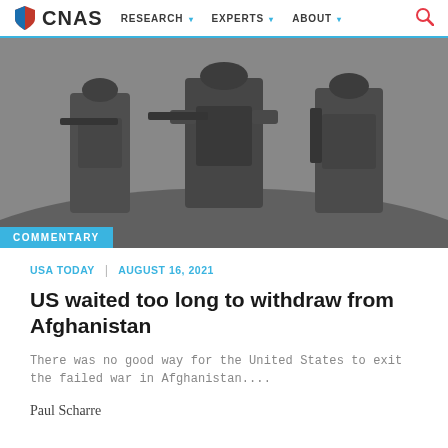CNAS  RESEARCH  EXPERTS  ABOUT
[Figure (photo): Black and white photo of three soldiers in combat gear walking with rifles raised in a field environment.]
COMMENTARY
USA TODAY  |  AUGUST 16, 2021
US waited too long to withdraw from Afghanistan
There was no good way for the United States to exit the failed war in Afghanistan....
Paul Scharre